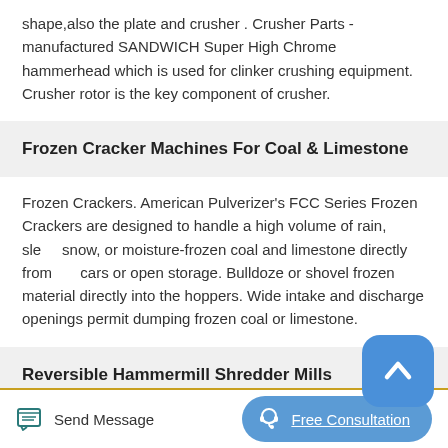shape,also the plate and crusher . Crusher Parts - manufactured SANDWICH Super High Chrome hammerhead which is used for clinker crushing equipment. Crusher rotor is the key component of crusher.
Frozen Cracker Machines For Coal & Limestone
Frozen Crackers. American Pulverizer's FCC Series Frozen Crackers are designed to handle a high volume of rain, sleet, snow, or moisture-frozen coal and limestone directly from rail cars or open storage. Bulldoze or shovel frozen material directly into the hoppers. Wide intake and discharge openings permit dumping frozen coal or limestone.
Reversible Hammermill Shredder Mills